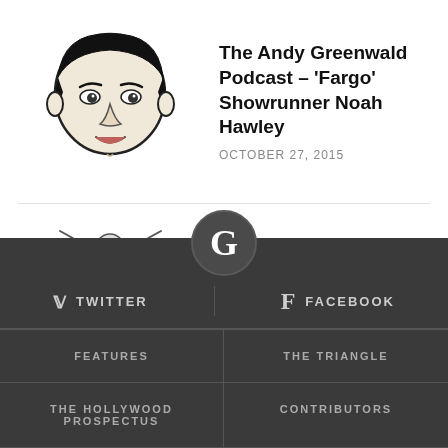The Andy Greenwald Podcast – 'Fargo' Showrunner Noah Hawley
OCTOBER 27, 2015
Grantland Pop Culture – Aaron Sorkin
OCTOBER 23, 2015
[Figure (logo): Grantland G logo circle in footer]
TWITTER
FACEBOOK
FEATURES
THE TRIANGLE
THE HOLLYWOOD PROSPECTUS
CONTRIBUTORS